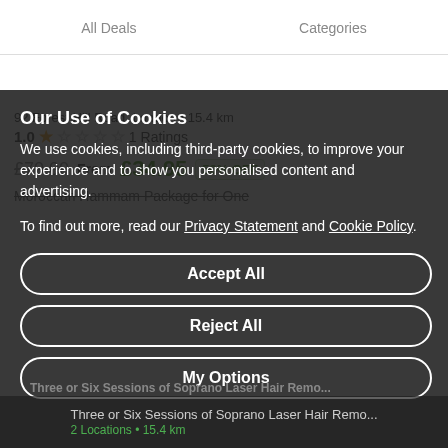All Deals   Categories
92 Forest Hill Road, London • 15.4 km
1.0 ★☆☆☆☆ 1 Ratings
£70.00  From £34.95  50% OFF
Moroccan Hammam Package for One
Our Use of Cookies
We use cookies, including third-party cookies, to improve your experience and to show you personalised content and advertising.
To find out more, read our Privacy Statement and Cookie Policy.
Accept All
Reject All
My Options
Three or Six Sessions of Soprano Laser Hair Remo...
2 Locations • 15.4 km